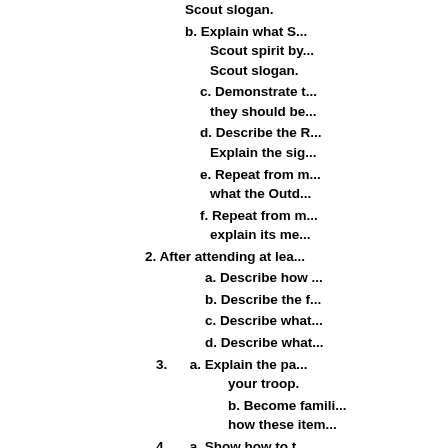Scout slogan.
b. Explain what Scout spirit is. Demonstrate Scout spirit by living the Scout Oath and Scout slogan.
c. Demonstrate t... they should be...
d. Describe the R... Explain the sig...
e. Repeat from m... what the Outd...
f. Repeat from m... explain its me...
2. After attending at lea...
a. Describe how ...
b. Describe the f...
c. Describe what...
d. Describe what...
3. a. Explain the pa... your troop.
b. Become famili... how these iten...
4. a. Show how to t... Explain how e...
b. Show the prop... ends of differe...
5. Demonstrate your k...
6. With your parent or... Protect Your Childre...
Chin Award for your...